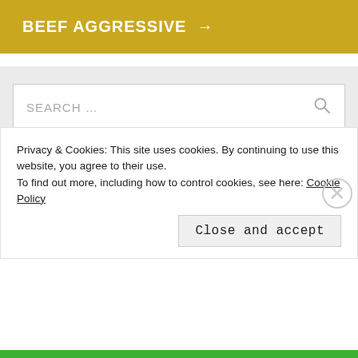BEEF AGGRESSIVE →
[Figure (screenshot): Search box with placeholder text SEARCH ... and a magnifying glass icon on the right, inside a light gray panel]
[Figure (screenshot): Follow Steve Dang button with WordPress icon in blue]
Privacy & Cookies: This site uses cookies. By continuing to use this website, you agree to their use.
To find out more, including how to control cookies, see here: Cookie Policy
Close and accept